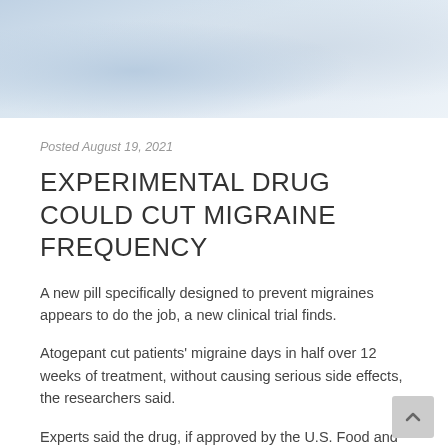[Figure (photo): Photo of medical professionals or researchers in white lab coats, cropped to show torsos/upper body area with light blue background]
Posted August 19, 2021
EXPERIMENTAL DRUG COULD CUT MIGRAINE FREQUENCY
A new pill specifically designed to prevent migraines appears to do the job, a new clinical trial finds.
Atogepant cut patients' migraine days in half over 12 weeks of treatment, without causing serious side effects, the researchers said.
Experts said the drug, if approved by the U.S. Food and Drug Administration, would give migraine sufferers a welcome new option.